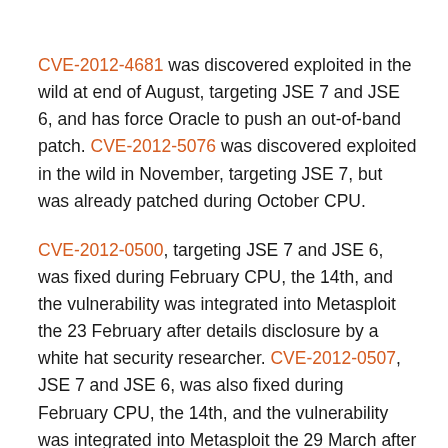CVE-2012-4681 was discovered exploited in the wild at end of August, targeting JSE 7 and JSE 6, and has force Oracle to push an out-of-band patch. CVE-2012-5076 was discovered exploited in the wild in November, targeting JSE 7, but was already patched during October CPU.
CVE-2012-0500, targeting JSE 7 and JSE 6, was fixed during February CPU, the 14th, and the vulnerability was integrated into Metasploit the 23 February after details disclosure by a white hat security researcher. CVE-2012-0507, JSE 7 and JSE 6, was also fixed during February CPU, the 14th, and the vulnerability was integrated into Metasploit the 29 March after details disclosure by a white hat security researcher. CVE-2012-1723, JSE 7 and JSE 6, was fixed during June CPU, the 12th, and the vulnerability was integrated into Metasploit the 9 July after details disclosure by a white hat security researcher.